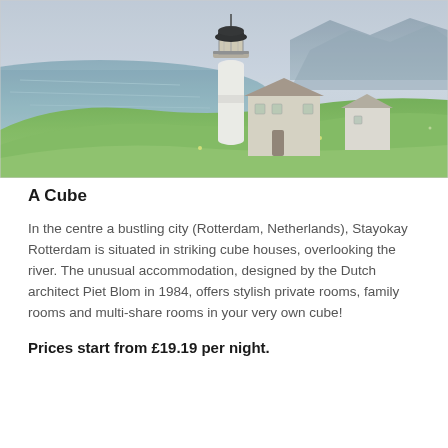[Figure (photo): A coastal lighthouse on a green grassy cliff with ocean and rocky shoreline in the background. Sky is overcast. White lighthouse tower with black lantern room on top. A building beside it. Mountains visible in the distance.]
A Cube
In the centre a bustling city (Rotterdam, Netherlands), Stayokay Rotterdam is situated in striking cube houses, overlooking the river. The unusual accommodation, designed by the Dutch architect Piet Blom in 1984, offers stylish private rooms, family rooms and multi-share rooms in your very own cube!
Prices start from £19.19 per night.